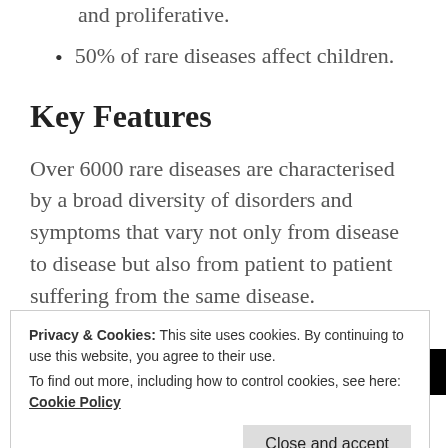environmental causes, or are degenerative and proliferative.
50% of rare diseases affect children.
Key Features
Over 6000 rare diseases are characterised by a broad diversity of disorders and symptoms that vary not only from disease to disease but also from patient to patient suffering from the same disease.
[Figure (screenshot): Longreads advertisement banner with black background and Longreads logo]
Privacy & Cookies: This site uses cookies. By continuing to use this website, you agree to their use.
To find out more, including how to control cookies, see here: Cookie Policy
treatment. Quintessentially disabling, the patients